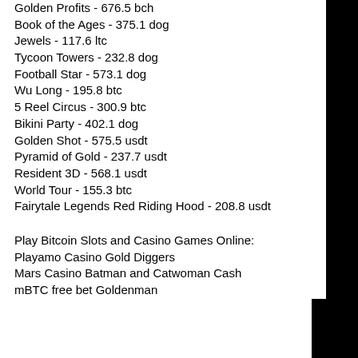Golden Profits - 676.5 bch
Book of the Ages - 375.1 dog
Jewels - 117.6 ltc
Tycoon Towers - 232.8 dog
Football Star - 573.1 dog
Wu Long - 195.8 btc
5 Reel Circus - 300.9 btc
Bikini Party - 402.1 dog
Golden Shot - 575.5 usdt
Pyramid of Gold - 237.7 usdt
Resident 3D - 568.1 usdt
World Tour - 155.3 btc
Fairytale Legends Red Riding Hood - 208.8 usdt
Play Bitcoin Slots and Casino Games Online:
Playamo Casino Gold Diggers
Mars Casino Batman and Catwoman Cash
mBTC free bet Goldenman